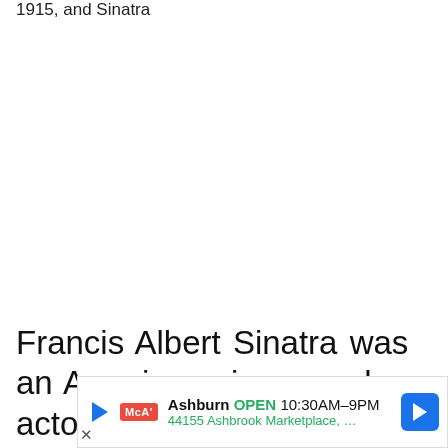1915, and Sinatra
Francis Albert Sinatra was an American singer and actor. Sinatra was born in New Jersey on December 12, 1915, to
[Figure (other): Advertisement bar showing McAlister's Deli location in Ashburn, OPEN 10:30AM–9PM, 44155 Ashbrook Marketplace, … with navigation arrow icon]